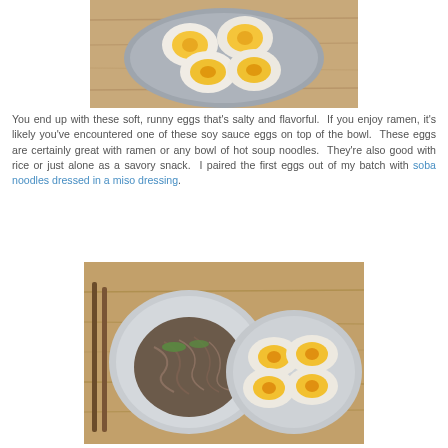[Figure (photo): Overhead view of a gray plate with four soft-boiled eggs cut in half, showing jammy orange yolks, on a wooden surface.]
You end up with these soft, runny eggs that's salty and flavorful.  If you enjoy ramen, it's likely you've encountered one of these soy sauce eggs on top of the bowl.  These eggs are certainly great with ramen or any bowl of hot soup noodles.  They're also good with rice or just alone as a savory snack.  I paired the first eggs out of my batch with soba noodles dressed in a miso dressing.
[Figure (photo): Overhead view of two white bowls on a wooden cutting board: one containing soba noodles with green garnish, and one containing four halved soft-boiled eggs showing orange yolks. Chopsticks visible on the left.]